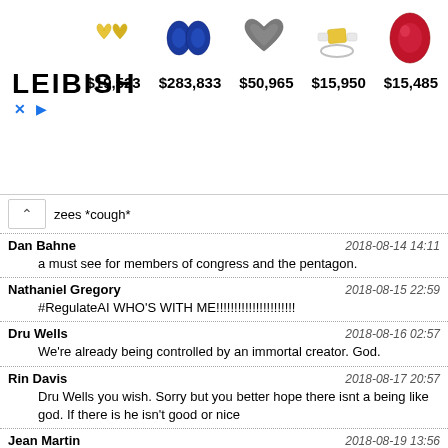[Figure (infographic): Leibish jewelry advertisement banner showing gem images and prices: yellow heart earrings $19,523, blue oval sapphires $283,833, grey heart $50,965, diamond ring $15,950, red oval ruby $15,485]
zees *cough*
Dan Bahne  2018-08-14 14:11
a must see for members of congress and the pentagon.
Nathaniel Gregory  2018-08-15 22:59
#RegulateAI WHO'S WITH ME!!!!!!!!!!!!!!!!!!!!!!
Dru Wells  2018-08-16 02:57
We're already being controlled by an immortal creator. God.
Rin Davis  2018-08-17 20:57
Dru Wells you wish. Sorry but you better hope there isnt a being like god. If there is he isn't good or nice
Jean Martin  2018-08-19 13:56
lol what about Tesla?
Jean Martin  2018-08-19 16:01
mmmm.. sorta.